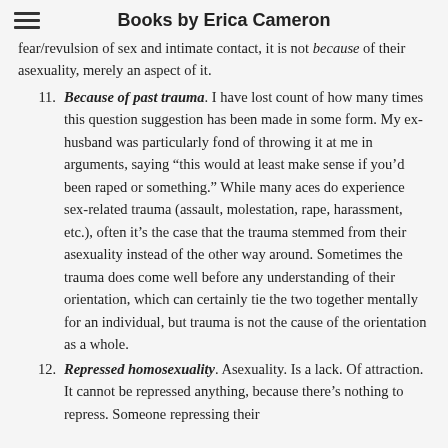Books by Erica Cameron
fear/revulsion of sex and intimate contact, it is not because of their asexuality, merely an aspect of it.
11. Because of past trauma. I have lost count of how many times this question suggestion has been made in some form. My ex-husband was particularly fond of throwing it at me in arguments, saying “this would at least make sense if you’d been raped or something.” While many aces do experience sex-related trauma (assault, molestation, rape, harassment, etc.), often it’s the case that the trauma stemmed from their asexuality instead of the other way around. Sometimes the trauma does come well before any understanding of their orientation, which can certainly tie the two together mentally for an individual, but trauma is not the cause of the orientation as a whole.
12. Repressed homosexuality. Asexuality. Is a lack. Of attraction. It cannot be repressed anything, because there’s nothing to repress. Someone repressing their